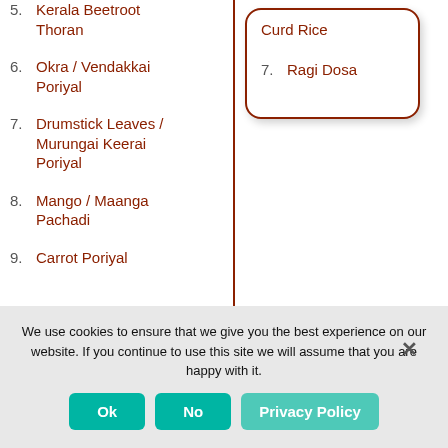5. Kerala Beetroot Thoran
6. Okra / Vendakkai Poriyal
7. Drumstick Leaves / Murungai Keerai Poriyal
8. Mango / Maanga Pachadi
9. Carrot Poriyal
Curd Rice
7. Ragi Dosa
We use cookies to ensure that we give you the best experience on our website. If you continue to use this site we will assume that you are happy with it.